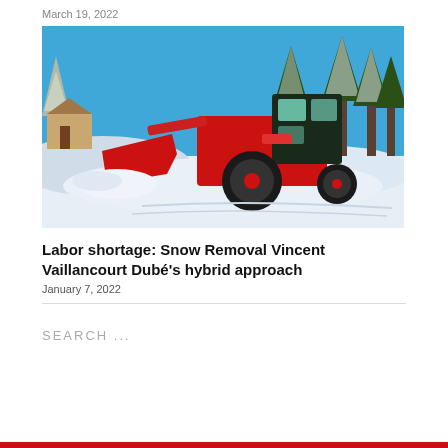March 19, 2022
[Figure (photo): Red Kubota tractor with front loader clearing snow in a snowy residential area with snow-covered pine trees and a house in the background under a clear blue sky.]
Labor shortage: Snow Removal Vincent Vaillancourt Dubé's hybrid approach
January 7, 2022
SEARCH ...